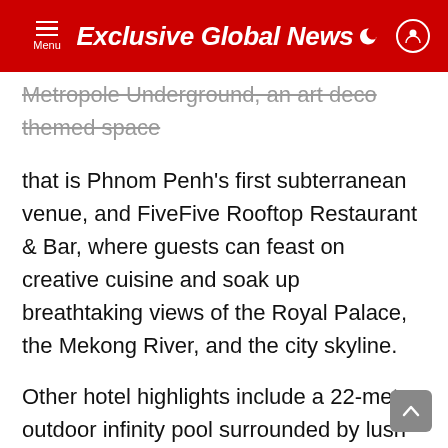Exclusive Global News
Metropole Underground, an art deco themed space that is Phnom Penh's first subterranean venue, and FiveFive Rooftop Restaurant & Bar, where guests can feast on creative cuisine and soak up breathtaking views of the Royal Palace, the Mekong River, and the city skyline.
Other hotel highlights include a 22-meter outdoor infinity pool surrounded by lush greenery and the hotel's Jivapita spa, which offers a range of pampering treatments often inspired by Khmer wellness traditions. The hotel's 1400 square meters of meeting and event space, meanwhile, make the property as suitable for business as it is for pleasure — no small thing in one of the region's emerging